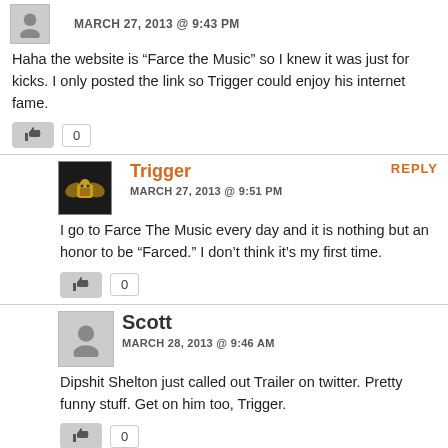MARCH 27, 2013 @ 9:43 PM
Haha the website is “Farce the Music” so I knew it was just for kicks. I only posted the link so Trigger could enjoy his internet fame.
0
REPLY
Trigger
MARCH 27, 2013 @ 9:51 PM
I go to Farce The Music every day and it is nothing but an honor to be “Farced.” I don’t think it’s my first time.
0
Scott
MARCH 28, 2013 @ 9:46 AM
Dipshit Shelton just called out Trailer on twitter. Pretty funny stuff. Get on him too, Trigger.
0